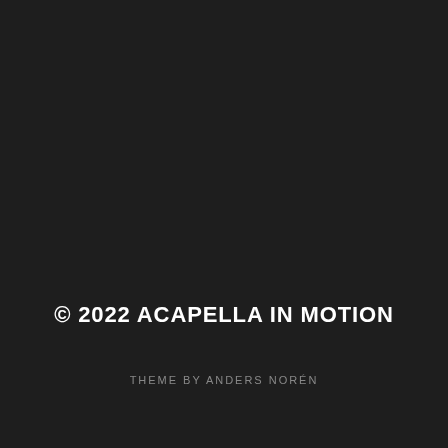© 2022 ACAPELLA IN MOTION
THEME BY ANDERS NORÉN